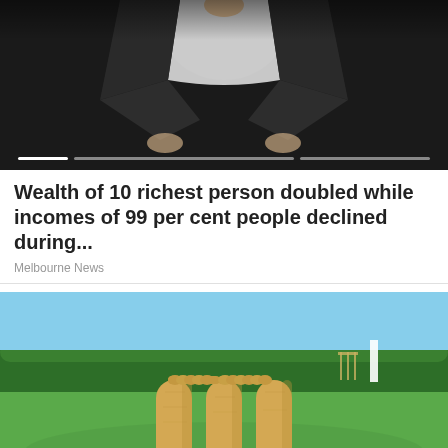[Figure (photo): Person in white shirt and dark jacket, partially visible against dark background, with a horizontal slider/progress bar at the bottom]
Wealth of 10 richest person doubled while incomes of 99 per cent people declined during...
Melbourne News
[Figure (photo): Close-up of cricket stumps (Readers brand) with bails on top, on a green cricket pitch with trees and wickets visible in the background]